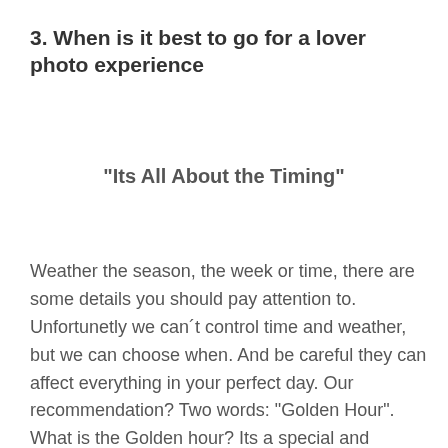3. When is it best to go for a lover photo experience
“Its All About the Timing”
Weather the season, the week or time, there are some details you should pay attention to. Unfortunetly we can´t control time and weather, but we can choose when. And be careful they can affect everything in your perfect day. Our recommendation? Two words: “Golden Hour”. What is the Golden hour? Its a special and unique time during the day. The light is perfect, the weather chills down and the vibe is lovely. Yes! Correct we are talking about the Sunset. If you want to know...